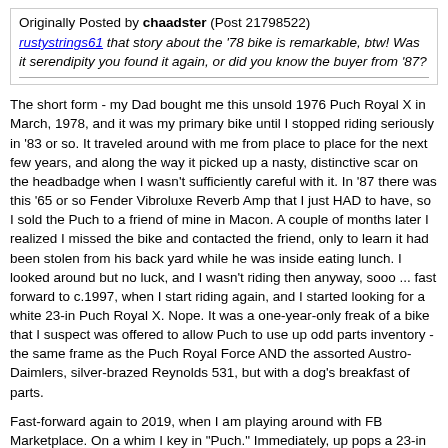Originally Posted by chaadster (Post 21798522)
rustystrings61 that story about the '78 bike is remarkable, btw! Was it serendipity you found it again, or did you know the buyer from '87?
The short form - my Dad bought me this unsold 1976 Puch Royal X in March, 1978, and it was my primary bike until I stopped riding seriously in '83 or so. It traveled around with me from place to place for the next few years, and along the way it picked up a nasty, distinctive scar on the headbadge when I wasn't sufficiently careful with it. In '87 there was this '65 or so Fender Vibroluxe Reverb Amp that I just HAD to have, so I sold the Puch to a friend of mine in Macon. A couple of months later I realized I missed the bike and contacted the friend, only to learn it had been stolen from his back yard while he was inside eating lunch. I looked around but no luck, and I wasn't riding then anyway, sooo ... fast forward to c.1997, when I start riding again, and I started looking for a white 23-in Puch Royal X. Nope. It was a one-year-only freak of a bike that I suspect was offered to allow Puch to use up odd parts inventory - the same frame as the Puch Royal Force AND the assorted Austro-Daimlers, silver-brazed Reynolds 531, but with a dog's breakfast of parts.
Fast-forward again to 2019, when I am playing around with FB Marketplace. On a whim I key in "Puch." Immediately, up pops a 23-in white Puch Royal X, and even with bad pix I know what it is - and it's only $100. It's in Stone Mountain, near Atlanta, so I locate a bike shop that would be willing to ship the bike, make a deal with the seller to have him deliver it there, send the shop the money to pay him and to box it up and ship it to me. It finally arrives, I take it out of the box and got a really